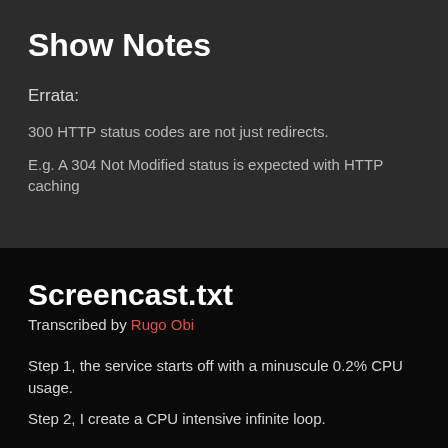Show Notes
Errata:
300 HTTP status codes are not just redirects.
E.g. A 304 Not Modified status is expected with HTTP caching
Screencast.txt
Transcribed by Rugo Obi
Step 1, the service starts off with a minuscule 0.2% CPU usage.
Step 2, I create a CPU intensive infinite loop.